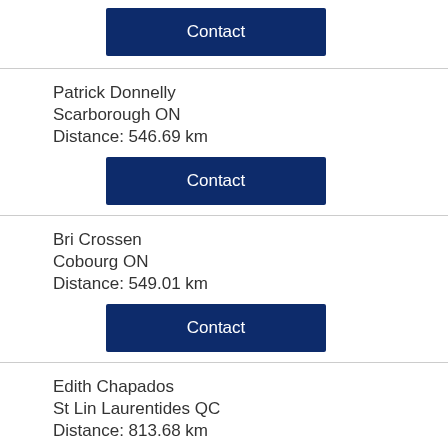Contact
Patrick Donnelly
Scarborough ON
Distance: 546.69 km
Contact
Bri Crossen
Cobourg ON
Distance: 549.01 km
Contact
Edith Chapados
St Lin Laurentides QC
Distance: 813.68 km
Contact